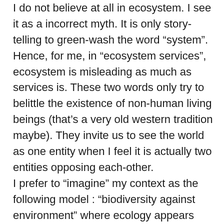I do not believe at all in ecosystem. I see it as a incorrect myth. It is only story-telling to greenwash the word “system”. Hence, for me, in “ecosystem services”, ecosystem is misleading as much as services is. These two words only try to belittle the existence of non-human living beings (that’s a very old western tradition maybe). They invite us to see the world as one entity when I feel it is actually two entities opposing each-other.
I prefer to “imagine” my context as the following model : “biodiversity against environment” where ecology appears more like scientific history of living civilisations (including non humans) trying to develop further, deeper, stronger and higher against the environment (newtonian laws).
I think our ecological crisis comes from this mis-